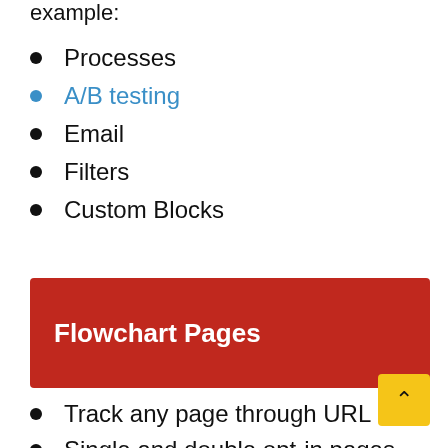example:
Processes
A/B testing
Email
Filters
Custom Blocks
Flowchart Pages
Track any page through URL
Single and double opt-in pages